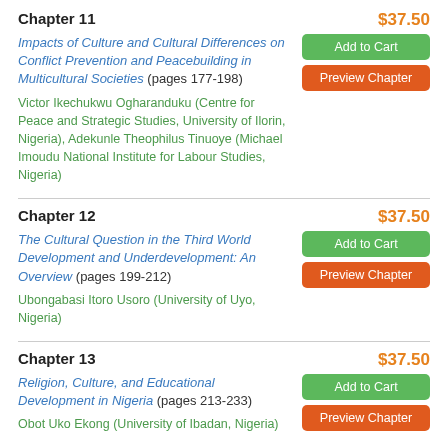Chapter 11
$37.50
Impacts of Culture and Cultural Differences on Conflict Prevention and Peacebuilding in Multicultural Societies (pages 177-198)
Victor Ikechukwu Ogharanduku (Centre for Peace and Strategic Studies, University of Ilorin, Nigeria), Adekunle Theophilus Tinuoye (Michael Imoudu National Institute for Labour Studies, Nigeria)
Chapter 12
$37.50
The Cultural Question in the Third World Development and Underdevelopment: An Overview (pages 199-212)
Ubongabasi Itoro Usoro (University of Uyo, Nigeria)
Chapter 13
$37.50
Religion, Culture, and Educational Development in Nigeria (pages 213-233)
Obot Uko Ekong (University of Ibadan, Nigeria)